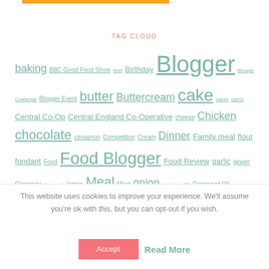[Figure (other): Orange decorative bar at top]
TAG CLOUD
baking BBC Good Food Show beef Birthday Blogger Blogger Challenge Blogger Event butter Buttercream cake cakes carrot Central Co-Op Central England Co-Operative cheese Chicken chocolate cinnamon Competition Cream Dinner Family meal flour fondant Food Food Blogger Food Review garlic ginger Giveaway Kenwood lemon Meal Meat onion potatoes PR Rapeseed Oil Recipe Review sugar
This website uses cookies to improve your experience. We'll assume you're ok with this, but you can opt-out if you wish.
Accept  Read More